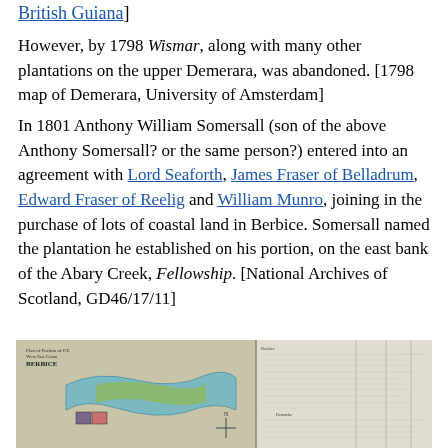British Guiana]
However, by 1798 Wismar, along with many other plantations on the upper Demerara, was abandoned. [1798 map of Demerara, University of Amsterdam]
In 1801 Anthony William Somersall (son of the above Anthony Somersall? or the same person?) entered into an agreement with Lord Seaforth, James Fraser of Belladrum, Edward Fraser of Reelig and William Munro, joining in the purchase of lots of coastal land in Berbice. Somersall named the plantation he established on his portion, on the east bank of the Abary Creek, Fellowship. [National Archives of Scotland, GD46/17/11]
[Figure (photo): Historical map or document showing land in Berbice, with a plan view on the left showing a creek and land plot, and what appears to be a handwritten document or register on the right side.]